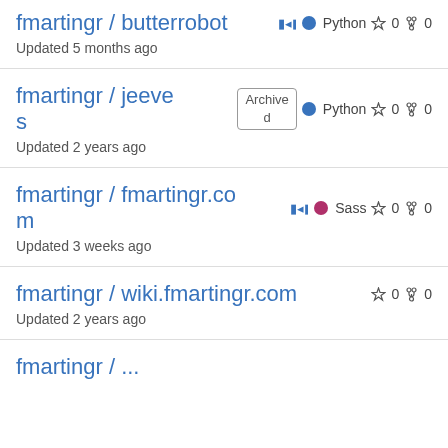fmartingr / butterrobot — Python ☆ 0 ⑂ 0 — Updated 5 months ago
fmartingr / jeeves — Archived — Python ☆ 0 ⑂ 0 — Updated 2 years ago
fmartingr / fmartingr.com — Sass ☆ 0 ⑂ 0 — Updated 3 weeks ago
fmartingr / wiki.fmartingr.com — ☆ 0 ⑂ 0 — Updated 2 years ago
fmartingr / ...